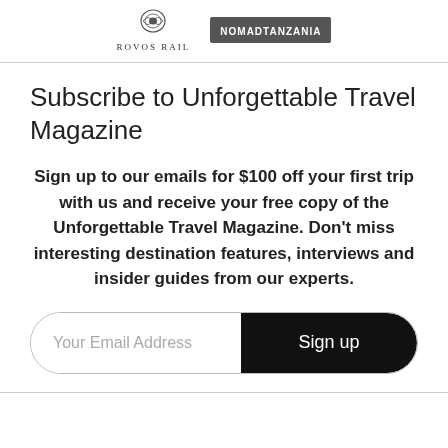Rovos Rail | Nomad Tanzania
Subscribe to Unforgettable Travel Magazine
Sign up to our emails for $100 off your first trip with us and receive your free copy of the Unforgettable Travel Magazine. Don't miss interesting destination features, interviews and insider guides from our experts.
[Figure (other): Email signup form with input field 'Your Email Address' and a black 'Sign up' button]